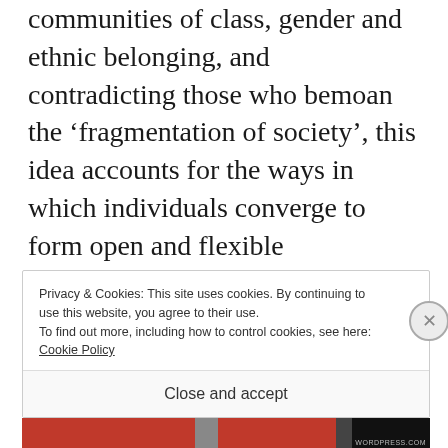communities of class, gender and ethnic belonging, and contradicting those who bemoan the ‘fragmentation of society’, this idea accounts for the ways in which individuals converge to form open and flexible communities of interest, within and between which they interact with the ‘other’.
Privacy & Cookies: This site uses cookies. By continuing to use this website, you agree to their use.
To find out more, including how to control cookies, see here: Cookie Policy
Close and accept